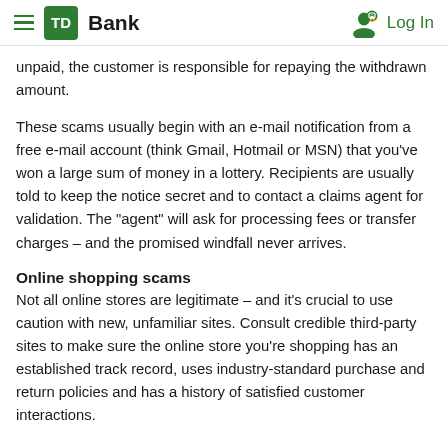TD Bank  Log In
unpaid, the customer is responsible for repaying the withdrawn amount.
These scams usually begin with an e-mail notification from a free e-mail account (think Gmail, Hotmail or MSN) that you've won a large sum of money in a lottery. Recipients are usually told to keep the notice secret and to contact a claims agent for validation. The "agent" will ask for processing fees or transfer charges – and the promised windfall never arrives.
Online shopping scams
Not all online stores are legitimate – and it's crucial to use caution with new, unfamiliar sites. Consult credible third-party sites to make sure the online store you're shopping has an established track record, uses industry-standard purchase and return policies and has a history of satisfied customer interactions.